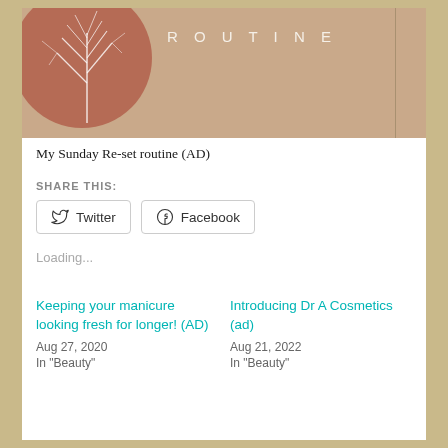[Figure (illustration): Decorative header image with terracotta circle containing a white botanical/plant illustration on a tan/beige background, with the word ROUTINE in spaced light letters and a vertical dividing line on the right side.]
My Sunday Re-set routine (AD)
SHARE THIS:
[Figure (other): Twitter share button with bird icon]
[Figure (other): Facebook share button with circle icon]
Loading...
Keeping your manicure looking fresh for longer! (AD)
Aug 27, 2020
In "Beauty"
Introducing Dr A Cosmetics (ad)
Aug 21, 2022
In "Beauty"